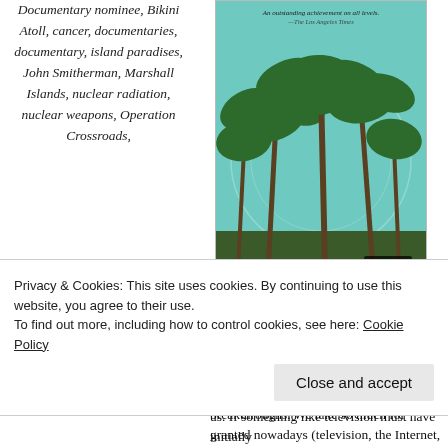Documentary nominee, Bikini Atoll, cancer, documentaries, documentary, island paradises, John Smitherman, Marshall Islands, nuclear radiation, nuclear weapons, Operation Crossroads,
[Figure (photo): Book cover showing palm trees against a teal/turquoise sky background, with a small film reel icon in the lower right corner and a quote at top reading 'An outstanding achievement on all levels. - The Los Angeles Times']
It's always interesting to look back on simpler times, especially as regards technological and scientific breakthroughs. We take so much for granted nowadays (television, the Internet, cars) that it seems almost unfathomable that there could ever be a time
Privacy & Cookies: This site uses cookies. By continuing to use this website, you agree to their use.
To find out more, including how to control cookies, see here: Cookie Policy
us. If something like television must have initially